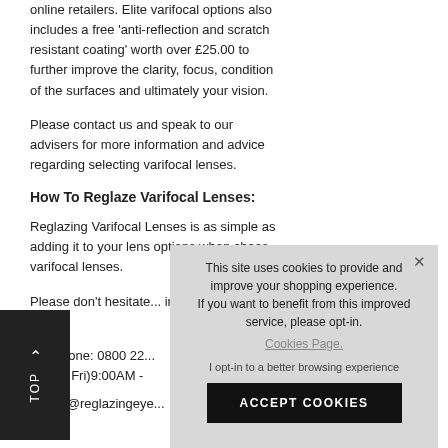online retailers. Elite varifocal options also includes a free 'anti-reflection and scratch resistant coating' worth over £25.00 to further improve the clarity, focus, condition of the surfaces and ultimately your vision.
Please contact us and speak to our advisers for more information and advice regarding selecting varifocal lenses.
How To Reglaze Varifocal Lenses:
Reglazing Varifocal Lenses is as simple as adding it to your lens options when choos... varifocal lenses.
Please don't hesitate... information and one...
Telephone: 0800 22...
(Mon - Fri)9:00AM -
orders@reglazingeye...
[Figure (screenshot): Cookie consent overlay with text 'This site uses cookies to provide and improve your shopping experience. If you want to benefit from this improved service, please opt-in. Cookies Page. I opt-in to a better browsing experience' and an ACCEPT COOKIES button.]